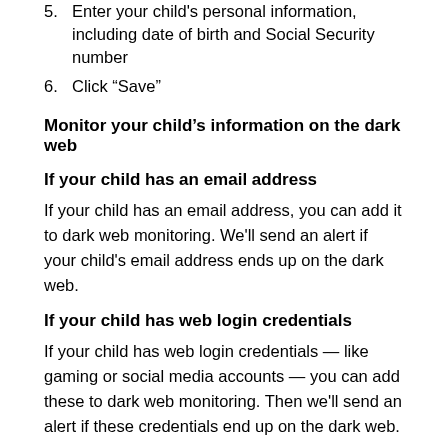5. Enter your child's personal information, including date of birth and Social Security number
6. Click “Save”
Monitor your child’s information on the dark web
If your child has an email address
If your child has an email address, you can add it to dark web monitoring. We'll send an alert if your child's email address ends up on the dark web.
If your child has web login credentials
If your child has web login credentials — like gaming or social media accounts — you can add these to dark web monitoring. Then we'll send an alert if these credentials end up on the dark web.
Monitor your child’s social media accounts
With social media monitoring, you can keep an eye on your